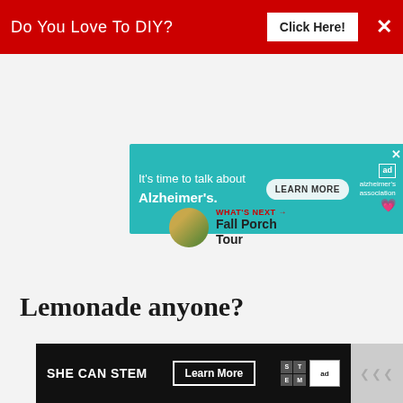[Figure (screenshot): Red top advertisement banner reading 'Do You Love To DIY?' with a 'Click Here!' button and an X close button]
[Figure (screenshot): Alzheimer's Association advertisement in teal/cyan color: 'It's time to talk about Alzheimer's.' with a LEARN MORE button and association logo]
Lemonade anyone?
[Figure (screenshot): What's Next panel with circular thumbnail and text 'Fall Porch Tour']
[Figure (screenshot): SHE CAN STEM advertisement on dark background with Learn More button and STEM/Ad Council logos]